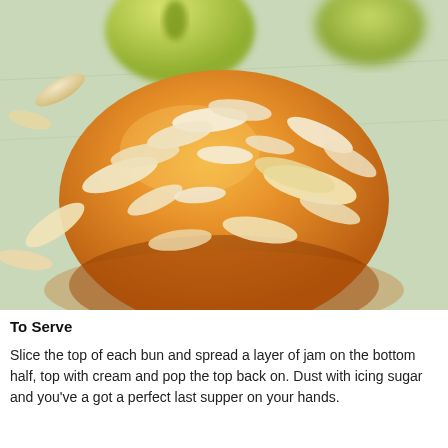[Figure (photo): Close-up photo of a golden-brown baked bun topped with flaked almonds, with pears visible in the background on a light surface.]
To Serve
Slice the top of each bun and spread a layer of jam on the bottom half, top with cream and pop the top back on. Dust with icing sugar and you've a got a perfect last supper on your hands.